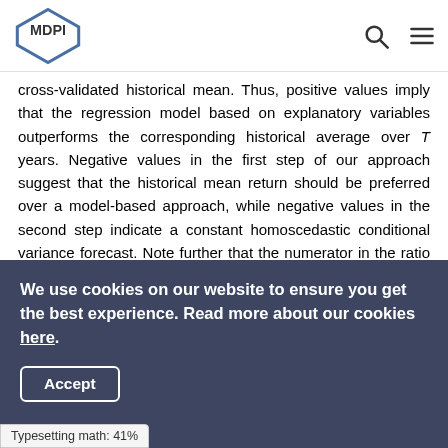MDPI
cross-validated historical mean. Thus, positive values imply that the regression model based on explanatory variables outperforms the corresponding historical average over T years. Negative values in the first step of our approach suggest that the historical mean return should be preferred over a model-based approach, while negative values in the second step indicate a constant homoscedastic conditional variance forecast. Note further that the numerator in the ratio of R²_{V,m} and R²_{V,ν} corresponds to the classical cross-validation criterion. Thus, choosing the bandwidth which minimizes this criterion for a given set of explanatory variables is equivalent in maximizing the validated R²_V. This means that we can use the validated
We use cookies on our website to ensure you get the best experience. Read more about our cookies here.
Accept
Typesetting math: 41%